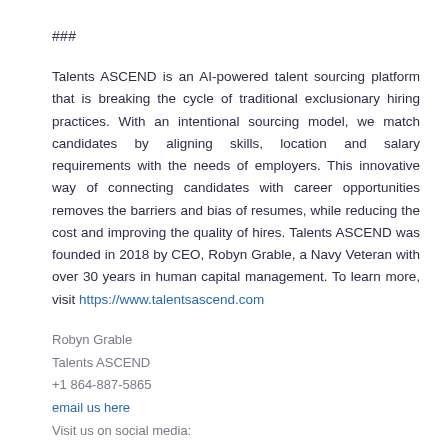###
Talents ASCEND is an AI-powered talent sourcing platform that is breaking the cycle of traditional exclusionary hiring practices. With an intentional sourcing model, we match candidates by aligning skills, location and salary requirements with the needs of employers. This innovative way of connecting candidates with career opportunities removes the barriers and bias of resumes, while reducing the cost and improving the quality of hires. Talents ASCEND was founded in 2018 by CEO, Robyn Grable, a Navy Veteran with over 30 years in human capital management. To learn more, visit https://www.talentsascend.com
Robyn Grable
Talents ASCEND
+1 864-887-5865
email us here
Visit us on social media:
LinkedIn